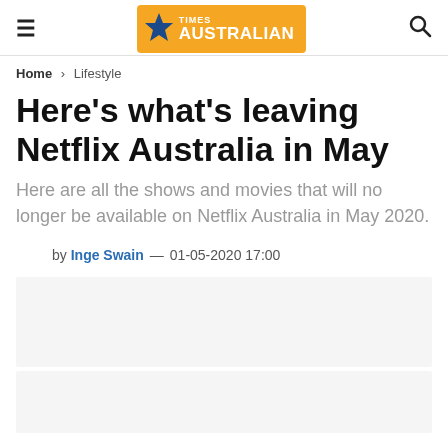Times Australian
Home > Lifestyle
Here's what's leaving Netflix Australia in May
Here are all the shows and movies that will no longer be available on Netflix Australia in May 2020.
by Inge Swain — 01-05-2020 17:00
[Figure (other): Advertisement placeholder box 1]
[Figure (other): Advertisement placeholder box 2]